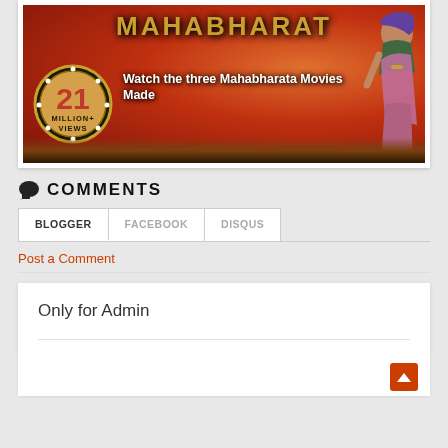[Figure (illustration): Mahabharat movie banner showing the title 'MAHABHARAT' in golden letters on a red fiery background, a female figure in traditional costume on the right, a badge showing '21 MILLION+ VIEWS' on the lower left, and caption text 'Watch the three Mahabharata Movies Made' overlaid on the image.]
COMMENTS
BLOGGER   FACEBOOK   DISQUS
Post a Comment
Only for Admin